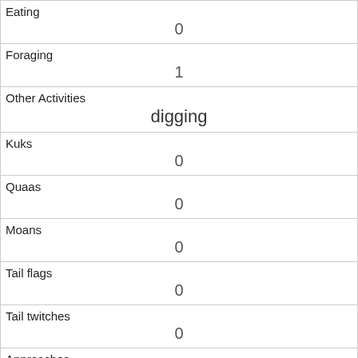| Field | Value |
| --- | --- |
| Eating | 0 |
| Foraging | 1 |
| Other Activities | digging |
| Kuks | 0 |
| Quaas | 0 |
| Moans | 0 |
| Tail flags | 0 |
| Tail twitches | 0 |
| Approaches | 0 |
| Indifferent | 1 |
| Runs from |  |